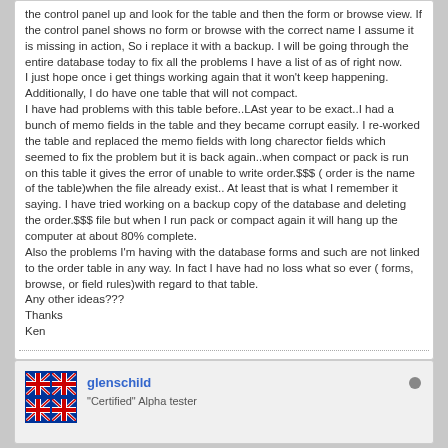the control panel up and look for the table and then the form or browse view. If the control panel shows no form or browse with the correct name I assume it is missing in action, So i replace it with a backup. I will be going through the entire database today to fix all the problems I have a list of as of right now.
I just hope once i get things working again that it won't keep happening.
Additionally, I do have one table that will not compact.
I have had problems with this table before..LAst year to be exact..I had a bunch of memo fields in the table and they became corrupt easily. I re-worked the table and replaced the memo fields with long charector fields which seemed to fix the problem but it is back again..when compact or pack is run on this table it gives the error of unable to write order.$$$ ( order is the name of the table)when the file already exist.. At least that is what I remember it saying. I have tried working on a backup copy of the database and deleting the order.$$$ file but when I run pack or compact again it will hang up the computer at about 80% complete.
Also the problems I'm having with the database forms and such are not linked to the order table in any way. In fact I have had no loss what so ever ( forms, browse, or field rules)with regard to that table.
Any other ideas???
Thanks
Ken
glenschild